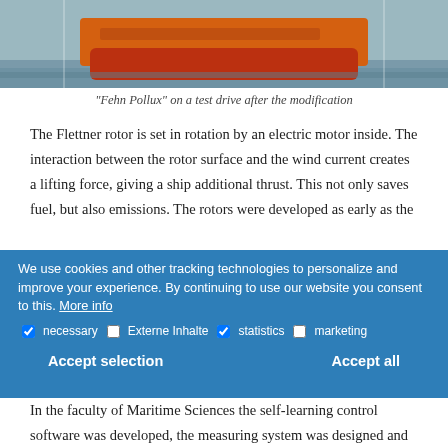[Figure (photo): Bottom portion of a ship (Fehn Pollux) with red/orange hull on water, photographed after modification with Flettner rotor]
"Fehn Pollux" on a test drive after the modification
The Flettner rotor is set in rotation by an electric motor inside. The interaction between the rotor surface and the wind current creates a lifting force, giving a ship additional thrust. This not only saves fuel, but also emissions. The rotors were developed as early as the
1920s, but did not catch on due to the low oil price. However, in recent years this type of propulsion has become attractive due to its greater environmental
We use cookies and other tracking technologies to personalize and improve your experience. By continuing to use our website you consent to this. More info
necessary   Externe Inhalte   statistics   marketing
Accept selection   Accept all
In the faculty of Maritime Sciences the self-learning control software was developed, the measuring system was designed and installed on board the prototype.